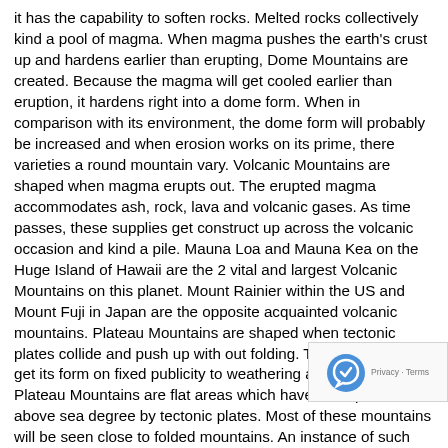it has the capability to soften rocks. Melted rocks collectively kind a pool of magma. When magma pushes the earth's crust up and hardens earlier than erupting, Dome Mountains are created. Because the magma will get cooled earlier than eruption, it hardens right into a dome form. When in comparison with its environment, the dome form will probably be increased and when erosion works on its prime, there varieties a round mountain vary. Volcanic Mountains are shaped when magma erupts out. The erupted magma accommodates ash, rock, lava and volcanic gases. As time passes, these supplies get construct up across the volcanic occasion and kind a pile. Mauna Loa and Mauna Kea on the Huge Island of Hawaii are the 2 vital and largest Volcanic Mountains on this planet. Mount Rainier within the US and Mount Fuji in Japan are the opposite acquainted volcanic mountains. Plateau Mountains are shaped when tectonic plates collide and push up with out folding. This mountain will get its form on fixed publicity to weathering and erosion. Plateau Mountains are flat areas which have been pushed above sea degree by tectonic plates. Most of these mountains will be seen close to folded mountains. An instance of such kind of mountain is mountains in New I'm a relentless viewer of nationwide geographic channel. It is